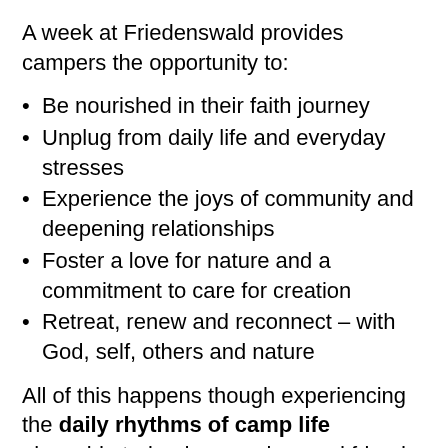A week at Friedenswald provides campers the opportunity to:
Be nourished in their faith journey
Unplug from daily life and everyday stresses
Experience the joys of community and deepening relationships
Foster a love for nature and a commitment to care for creation
Retreat, renew and reconnect – with God, self, others and nature
All of this happens though experiencing the daily rhythms of camp life alongside trained counselors and friends, and through a wide variety of fun and engaging activities. From an early morning polar bear swim to singing